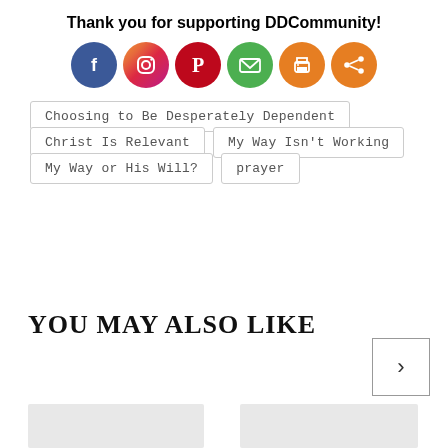Thank you for supporting DDCommunity!
[Figure (infographic): Row of six social media/share icon circles: Facebook (blue), Instagram (gradient purple-pink), Pinterest (red), Email (green), Print (orange), Share (orange)]
Choosing to Be Desperately Dependent
Christ Is Relevant
My Way Isn't Working
My Way or His Will?
prayer
YOU MAY ALSO LIKE
[Figure (photo): Navigation arrow button pointing right]
[Figure (photo): Two thumbnail image placeholders at bottom of page]